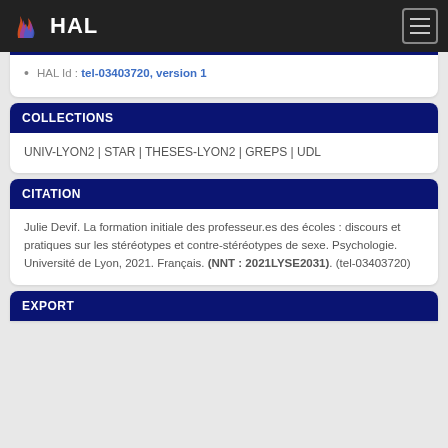HAL
HAL Id : tel-03403720, version 1
COLLECTIONS
UNIV-LYON2 | STAR | THESES-LYON2 | GREPS | UDL
CITATION
Julie Devif. La formation initiale des professeur.es des écoles : discours et pratiques sur les stéréotypes et contre-stéréotypes de sexe. Psychologie. Université de Lyon, 2021. Français. (NNT : 2021LYSE2031). (tel-03403720)
EXPORT